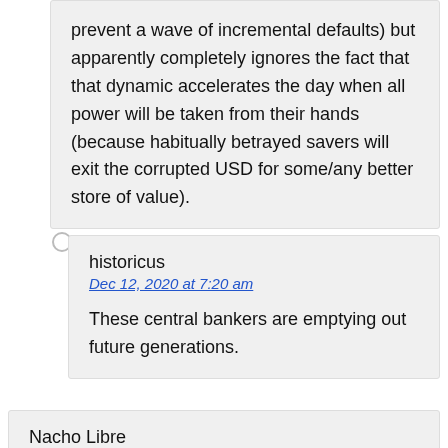prevent a wave of incremental defaults) but apparently completely ignores the fact that that dynamic accelerates the day when all power will be taken from their hands (because habitually betrayed savers will exit the corrupted USD for some/any better store of value).
historicus
Dec 12, 2020 at 7:20 am
These central bankers are emptying out future generations.
Nacho Libre